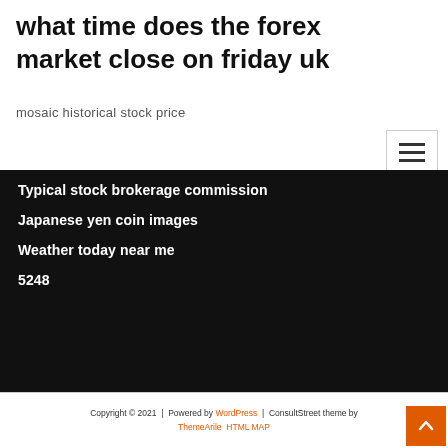what time does the forex market close on friday uk
mosaic historical stock price
Typical stock brokerage commission
Japanese yen coin images
Weather today near me
5248
Copyright © 2021  |  Powered by WordPress  |  ConsultStreet theme by ThemeArile HTML MAP